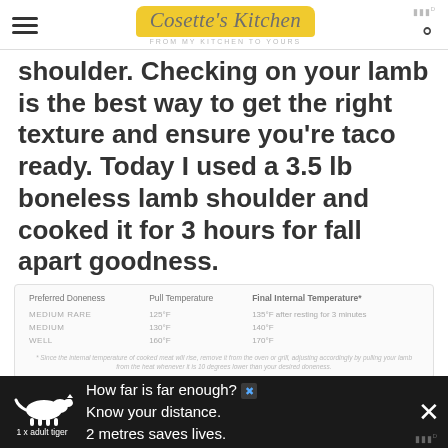Cosette's Kitchen — From My Kitchen To Yours
shoulder. Checking on your lamb is the best way to get the right texture and ensure you're taco ready. Today I used a 3.5 lb boneless lamb shoulder and cooked it for 3 hours for fall apart goodness.
| Preferred Doneness | Pull Temperature | Final Internal Temperature* |
| --- | --- | --- |
| MEDIUM RARE | 125°F | 135°F after resting for 3 minutes |
| MEDIUM | 130°F | 140°F |
| WELL | 160°F | 170°F |
Cooking temperatures for boneless lamb
[Figure (infographic): Advertisement bar: tiger illustration with '1 x adult tiger', text 'How far is far enough? Know your distance. 2 metres saves lives.']